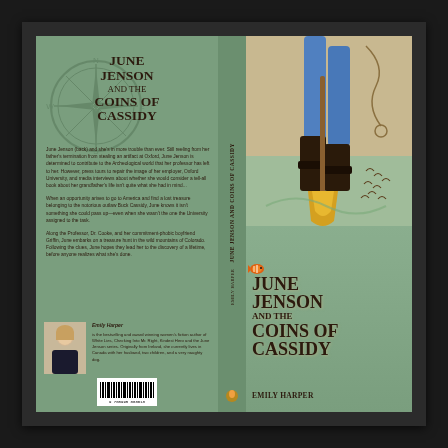[Figure (illustration): Book cover spread for 'June Jenson and the Coins of Cassidy' by Emily Harper. Shows front cover, spine, and back cover. Front cover features a person's legs in jeans and boots holding a golden shovel, with a green background and flying birds. Back cover has a compass watermark, plot description text, author photo and bio, and a barcode. Spine shows title and author name vertically.]